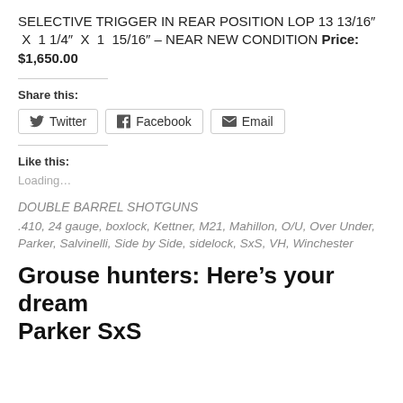SELECTIVE TRIGGER IN REAR POSITION LOP 13 13/16″ X 1 1/4″ X 1 15/16″ – NEAR NEW CONDITION Price: $1,650.00
Share this:
Twitter  Facebook  Email
Like this:
Loading…
DOUBLE BARREL SHOTGUNS
.410, 24 gauge, boxlock, Kettner, M21, Mahillon, O/U, Over Under, Parker, Salvinelli, Side by Side, sidelock, SxS, VH, Winchester
Grouse hunters: Here’s your dream Parker SxS